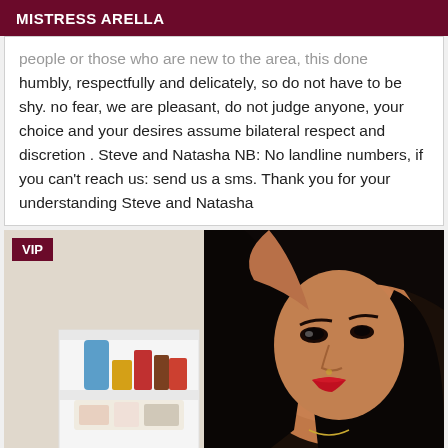MISTRESS ARELLA
people or those who are new to the area, this done humbly, respectfully and delicately, so do not have to be shy. no fear, we are pleasant, do not judge anyone, your choice and your desires assume bilateral respect and discretion . Steve and Natasha NB: No landline numbers, if you can't reach us: send us a sms. Thank you for your understanding Steve and Natasha
[Figure (photo): Photo of a woman with long dark hair, red lipstick, wearing a yellow top, with a white shelf/caddy with toiletry items in the background. A VIP badge is shown in the top-left corner.]